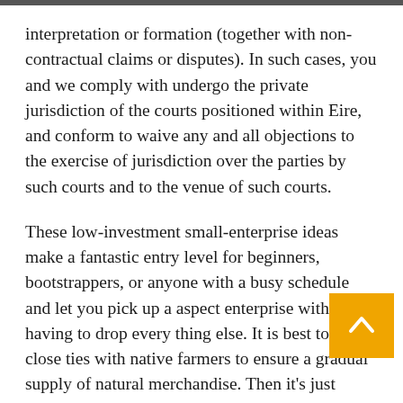interpretation or formation (together with non-contractual claims or disputes). In such cases, you and we comply with undergo the private jurisdiction of the courts positioned within Eire, and conform to waive any and all objections to the exercise of jurisdiction over the parties by such courts and to the venue of such courts.
These low-investment small-enterprise ideas make a fantastic entry level for beginners, bootstrappers, or anyone with a busy schedule and let you pick up a aspect enterprise with out having to drop every thing else. It is best to set up close ties with native farmers to ensure a gradual supply of natural merchandise. Then it's just about acquiring the correct equipment and marketing your services.
If you have the expertise, you'll be able to moreover